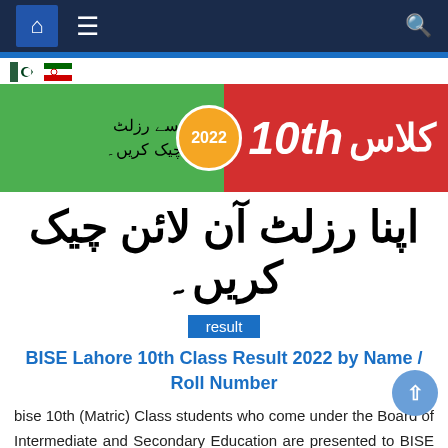Navigation bar with home icon, menu icon, and search icon
[Figure (infographic): Banner with green left side showing Urdu text 'Mobile se result kaise check karein' and orange circular badge with '2022', red right side showing Urdu 'class' and '10th' in white bold text]
اپنا رزلٹ آن لائن چیک کریں۔
result
BISE Lahore 10th Class Result 2022 by Name / Roll Number
bise 10th (Matric) Class students who come under the Board of Intermediate and Secondary Education are presented to BISE Lahore with full details of the results of the 2022 Lahore Board along with possible details of the Board of Education. According to the recent announcement, the Lahore Board